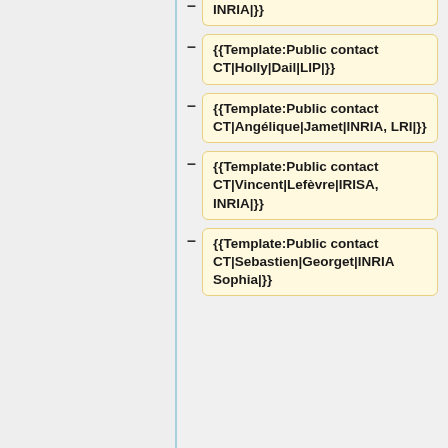{{Template:Public contact CT|Holly|Dail|LIP|}}
{{Template:Public contact CT|Angélique|Jamet|INRIA, LRI|}}
{{Template:Public contact CT|Vincent|Lefèvre|IRISA, INRIA|}}
{{Template:Public contact CT|Sebastien|Georget|INRIA Sophia|}}